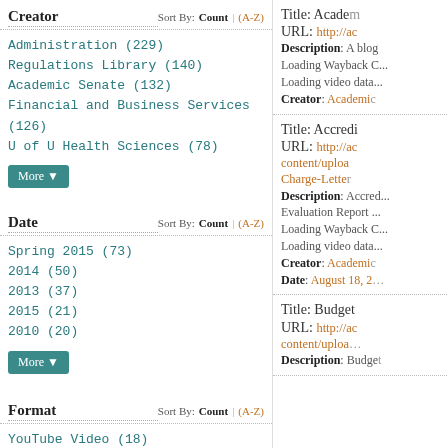Creator   Sort By: Count | (A-Z)
Administration (229)
Regulations Library (140)
Academic Senate (132)
Financial and Business Services (126)
U of U Health Sciences (78)
Date   Sort By: Count | (A-Z)
Spring 2015 (73)
2014 (50)
2013 (37)
2015 (21)
2010 (20)
Format   Sort By: Count | (A-Z)
YouTube Video (18)
Title: Acade...
URL: http://ac...
Description: A blog... Loading Wayback C... Loading video data...
Creator: Academic...
Title: Accredi...
URL: http://ac... content/uploa... Charge-Lette...
Description: Accred... Evaluation Report... Loading Wayback C... Loading video data...
Creator: Academic...
Date: August 18, 2...
Title: Budget ...
URL: http://ac... content/uploa...
Description: Budge...